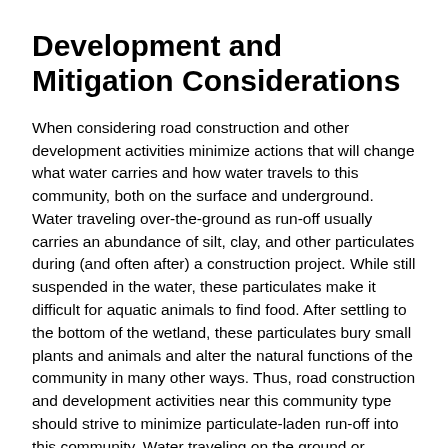Development and Mitigation Considerations
When considering road construction and other development activities minimize actions that will change what water carries and how water travels to this community, both on the surface and underground. Water traveling over-the-ground as run-off usually carries an abundance of silt, clay, and other particulates during (and often after) a construction project. While still suspended in the water, these particulates make it difficult for aquatic animals to find food. After settling to the bottom of the wetland, these particulates bury small plants and animals and alter the natural functions of the community in many other ways. Thus, road construction and development activities near this community type should strive to minimize particulate-laden run-off into this community. Water traveling on the ground or seeping through the ground also carries dissolved minerals and chemicals. Road salt, for example, is becoming an increasing problem both to natural communities and as a contaminant in household wells. Fertilizers, detergents, and other chemicals that increase the nutrient levels in wetlands cause algae blooms and eventually an oxygen-depleted environment where few animals can live. Herbicides and pesticides often travel